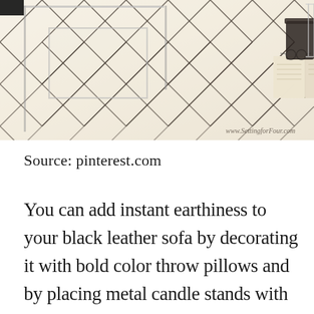[Figure (photo): A white shaggy Beni Ourain-style rug with black diamond geometric pattern. A glass/metal coffee table frame is visible, along with an open book and glasses on the rug. A dark plant pot and metallic side table are at the edges. Watermark reads www.SettingforFour.com]
Source: pinterest.com
You can add instant earthiness to your black leather sofa by decorating it with bold color throw pillows and by placing metal candle stands with matte finish on top of the table. Ad Free Shipping on Qualified